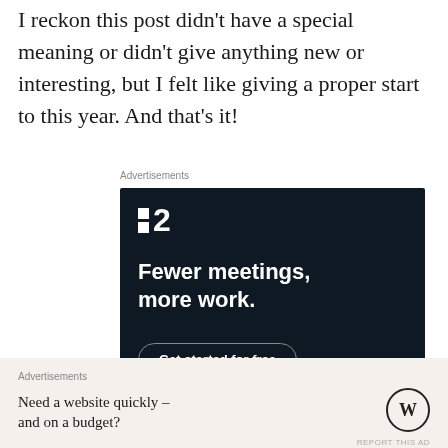I reckon this post didn’t have a special meaning or didn’t give anything new or interesting, but I felt like giving a proper start to this year. And that’s it!
Advertisements
[Figure (screenshot): Dark advertisement banner for a project management tool showing a logo with two squares and the number 2, headline 'Fewer meetings, more work.' and a 'Get started for free' button]
Advertisements
Need a website quickly – and on a budget?